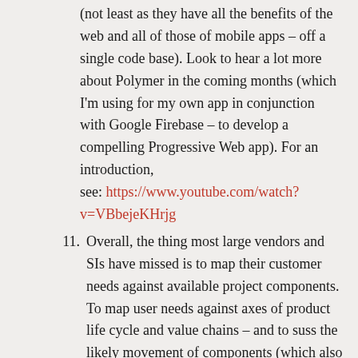(not least as they have all the benefits of the web and all of those of mobile apps – off a single code base). Look to hear a lot more about Polymer in the coming months (which I'm using for my own app in conjunction with Google Firebase – to develop a compelling Progressive Web app). For an introduction, see: https://www.youtube.com/watch?v=VBbejeKHrjg
11. Overall, the thing most large vendors and SIs have missed is to map their customer needs against available project components. To map user needs against axes of product life cycle and value chains – and to suss the likely movement of components (which also tells you where to apply six sigma and where agile techniques within the same organisation). But more eloquently explained by Simon Wardley: https://youtu.be/Ty6pOVEc3bA